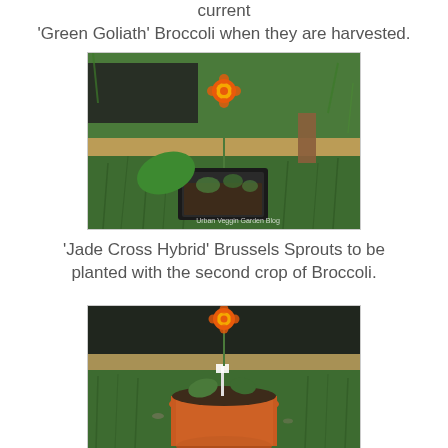current
'Green Goliath' Broccoli when they are harvested.
[Figure (photo): A marigold flower in a black nursery tray surrounded by green grass, with a wooden border visible. Watermark reads 'Urban Veggin Garden Blog'.]
'Jade Cross Hybrid' Brussels Sprouts to be planted with the second crop of Broccoli.
[Figure (photo): A marigold flower planted in an orange/terracotta pot, surrounded by green grass, with a black landscape fabric visible in the background.]